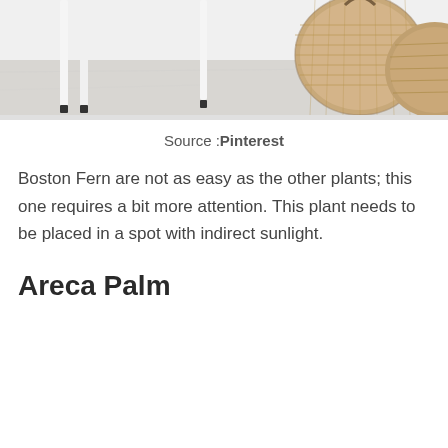[Figure (photo): Partial photo showing white furniture legs and wicker/rattan baskets on a light marble or stone surface]
Source : Pinterest
Boston Fern are not as easy as the other plants; this one requires a bit more attention. This plant needs to be placed in a spot with indirect sunlight.
Areca Palm